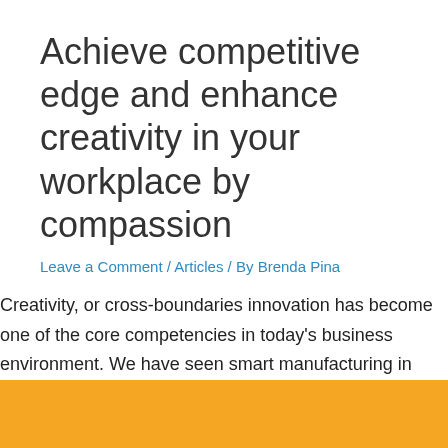Achieve competitive edge and enhance creativity in your workplace by compassion
Leave a Comment / Articles / By Brenda Pina
Creativity, or cross-boundaries innovation has become one of the core competencies in today's business environment. We have seen smart manufacturing in manufacturing industries. In highly regulated banking and financial sector, we have seen how fintech is transforming the entire landscape of competition. Mobile payment pioneered by the non-bank hi-tech companies would be an obvious example. …
Read More »
[Figure (other): Orange decorative band at the bottom of the page]